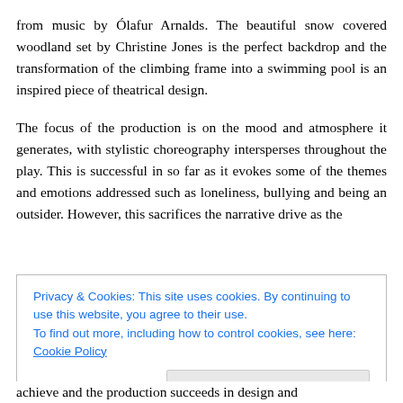from music by Ólafur Arnalds. The beautiful snow covered woodland set by Christine Jones is the perfect backdrop and the transformation of the climbing frame into a swimming pool is an inspired piece of theatrical design.
The focus of the production is on the mood and atmosphere it generates, with stylistic choreography intersperses throughout the play. This is successful in so far as it evokes some of the themes and emotions addressed such as loneliness, bullying and being an outsider. However, this sacrifices the narrative drive as the
Privacy & Cookies: This site uses cookies. By continuing to use this website, you agree to their use.
To find out more, including how to control cookies, see here: Cookie Policy
achieve and the production succeeds in design and